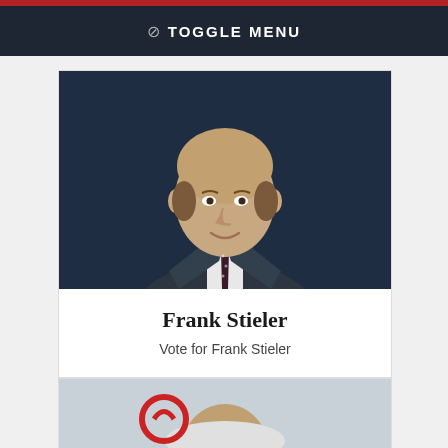⊘ TOGGLE MENU
[Figure (photo): Portrait photo of Frank Stieler, a bald middle-aged man in a dark suit and patterned tie, smiling, against a dark blue background]
Frank Stieler
Vote for Frank Stieler
[Figure (photo): Partial photo of another person visible at the bottom of the page, second candidate card cut off]